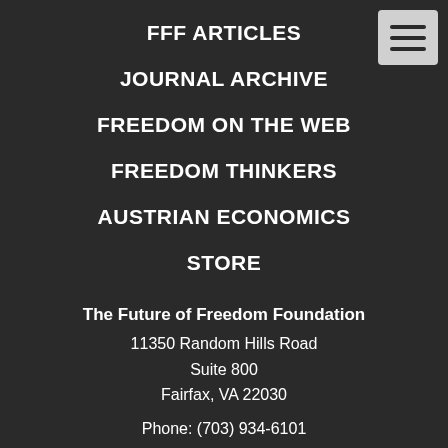FFF ARTICLES
JOURNAL ARCHIVE
FREEDOM ON THE WEB
FREEDOM THINKERS
AUSTRIAN ECONOMICS
STORE
The Future of Freedom Foundation
11350 Random Hills Road
Suite 800
Fairfax, VA 22030

Phone: (703) 934-6101